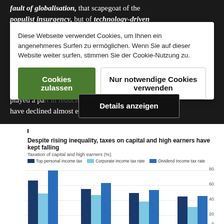fault of globalisation, that scapegoat of the populist insurgency, but of technology-driven changes combined with policies that have reinforced the underlying forces of divergence across countries
Diese Webseite verwendet Cookies, um Ihnen ein angenehmeres Surfen zu ermöglichen. Wenn Sie auf dieser Website weiter surfen, stimmen Sie der Cookie-Nutzung zu.
Cookies zulassen
Nur notwendige Cookies verwenden
Details anzeigen
wealth inequality rose. Unions, which played a part in reducing income inequality, have declined almost everywhere."
[Figure (grouped-bar-chart): Despite rising inequality, taxes on capital and high earners have kept falling]